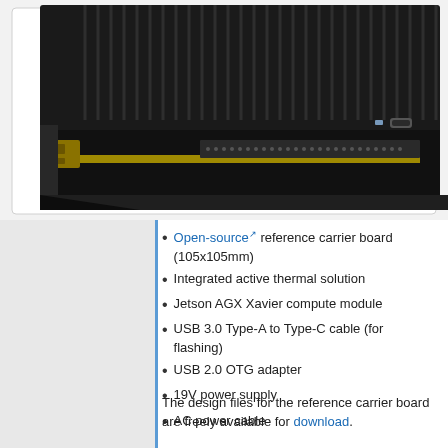[Figure (photo): Close-up photo of a Jetson AGX Xavier developer kit showing the black heatsink fins, edge connectors including a USB Type-C port, and a gold-colored cable/ribbon connector at the bottom edge of the board.]
Open-source reference carrier board (105x105mm)
Integrated active thermal solution
Jetson AGX Xavier compute module
USB 3.0 Type-A to Type-C cable (for flashing)
USB 2.0 OTG adapter
19V power supply
AC power cable
The design files for the reference carrier board are freely available for download.